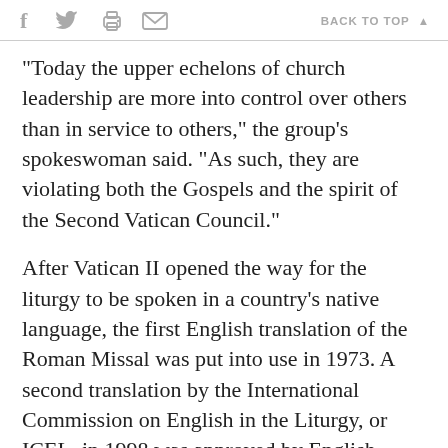f  [twitter]  [print]  [email]   BACK TO TOP ▲
"Today the upper echelons of church leadership are more into control over others than in service to others," the group's spokeswoman said. "As such, they are violating both the Gospels and the spirit of the Second Vatican Council."
After Vatican II opened the way for the liturgy to be spoken in a country's native language, the first English translation of the Roman Missal was put into use in 1973. A second translation by the International Commission on English in the Liturgy, or ICEL, in 1998 was approved by English-speaking bishops' conferences but rejected by the Vatican, which released new rules for translation that called for strict adherence to the Latin. ICEL was reorganized, and an advisory committee, Vox Clara, was formed to keep the Vatican abreast of progress. The bishops